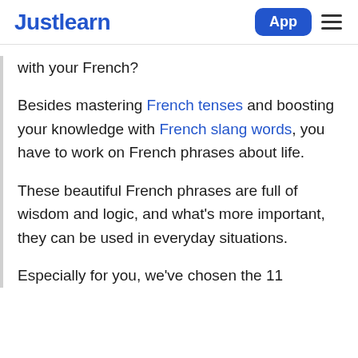Justlearn | App
with your French?
Besides mastering French tenses and boosting your knowledge with French slang words, you have to work on French phrases about life.
These beautiful French phrases are full of wisdom and logic, and what's more important, they can be used in everyday situations.
Especially for you, we've chosen the 11